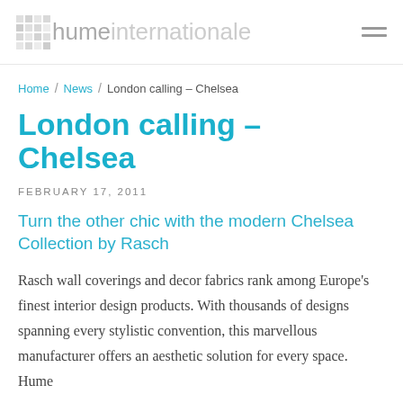hume internationale
Home / News / London calling – Chelsea
London calling – Chelsea
FEBRUARY 17, 2011
Turn the other chic with the modern Chelsea Collection by Rasch
Rasch wall coverings and decor fabrics rank among Europe's finest interior design products. With thousands of designs spanning every stylistic convention, this marvellous manufacturer offers an aesthetic solution for every space. Hume